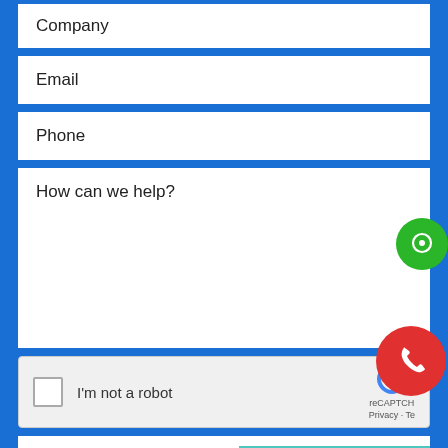Company
Email
Phone
How can we help?
[Figure (other): reCAPTCHA widget with checkbox labeled 'I'm not a robot', reCAPTCHA logo, Privacy and Terms links]
SEND
Privacy & Cookies Policy